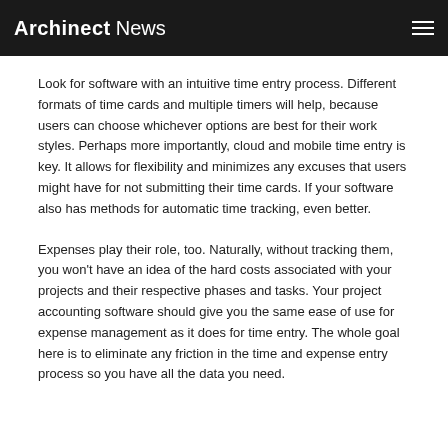Archinect News
Look for software with an intuitive time entry process. Different formats of time cards and multiple timers will help, because users can choose whichever options are best for their work styles. Perhaps more importantly, cloud and mobile time entry is key. It allows for flexibility and minimizes any excuses that users might have for not submitting their time cards. If your software also has methods for automatic time tracking, even better.
Expenses play their role, too. Naturally, without tracking them, you won't have an idea of the hard costs associated with your projects and their respective phases and tasks. Your project accounting software should give you the same ease of use for expense management as it does for time entry. The whole goal here is to eliminate any friction in the time and expense entry process so you have all the data you need.